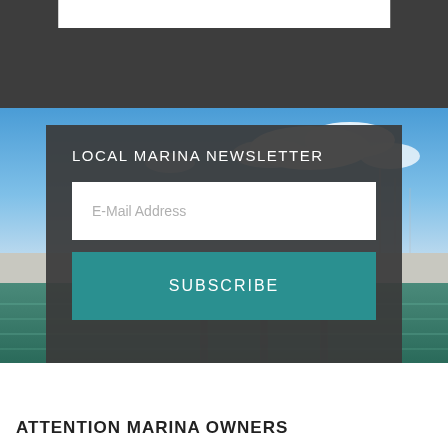[Figure (photo): Marina scene with boats docked at a pier, blue sky with white clouds in the upper portion, green water and dock structures in the lower portion. A dark semi-transparent overlay card is placed on top showing a newsletter signup form.]
LOCAL MARINA NEWSLETTER
E-Mail Address
SUBSCRIBE
ATTENTION MARINA OWNERS